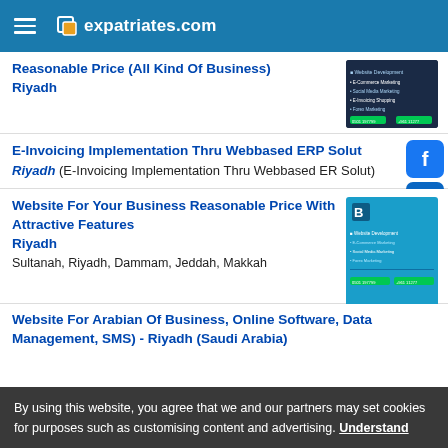expatriates.com
Reasonable Price (All Kind Of Business) Riyadh
E-Invoicing Implementation Thru Webbased ERP Solut Riyadh (E-Invoicing Implementation Thru Webbased ER Solut)
Website For Your Business Reasonable Price With Attractive Features Riyadh
Sultanah, Riyadh, Dammam, Jeddah, Makkah
Website For Arabian Of Business, Online Software, Data Management, SMS) - Riyadh (Saudi Arabia)
By using this website, you agree that we and our partners may set cookies for purposes such as customising content and advertising. Understand